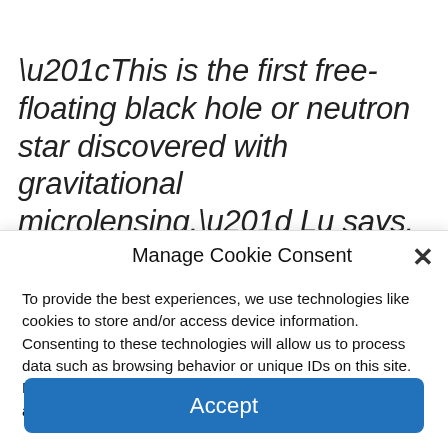“This is the first free-floating black hole or neutron star discovered with gravitational microlensing,” Lu says.
Manage Cookie Consent
To provide the best experiences, we use technologies like cookies to store and/or access device information. Consenting to these technologies will allow us to process data such as browsing behavior or unique IDs on this site. Not consenting or withdrawing consent, may adversely affect certain features and functions.
Accept
Cookie Policy